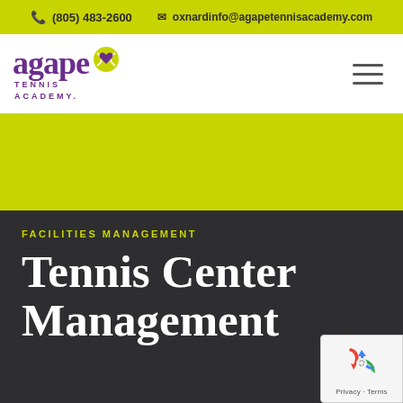(805) 483-2600  oxnardinfo@agapetennisacademy.com
[Figure (logo): Agape Tennis Academy logo with purple text and yellow tennis ball with heart]
[Figure (other): Hamburger menu icon with three horizontal lines]
[Figure (other): Yellow-green hero banner image area]
FACILITIES MANAGEMENT
Tennis Center Management
[Figure (other): Google reCAPTCHA badge with recycling arrow icon and Privacy - Terms links]